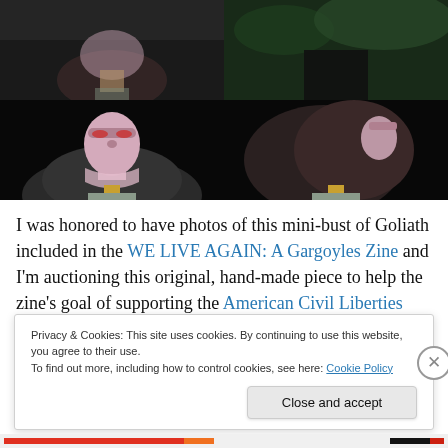[Figure (photo): Four photos of a hand-made Goliath (Gargoyles) mini-bust sculpture. Top row: front partial view and green/dark background view. Bottom row: front-facing bust on a pedestal showing pink/purple face, and a side/back view of the same bust.]
I was honored to have photos of this mini-bust of Goliath included in the WE LIVE AGAIN: A Gargoyles Zine and I'm auctioning this original, hand-made piece to help the zine's goal of supporting the American Civil Liberties Union
Privacy & Cookies: This site uses cookies. By continuing to use this website, you agree to their use.
To find out more, including how to control cookies, see here: Cookie Policy